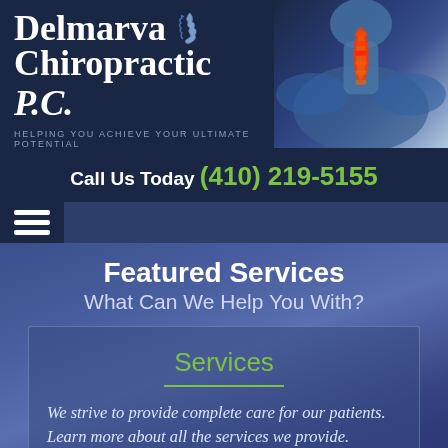[Figure (logo): Delmarva Chiropractic P.C. logo with spine imagery on the right side. White bold serif text reads 'Delmarva Chiropractic P.C.' with tagline 'HELPING YOU ACHIEVE YOUR ULTIMATE POTENTIAL'. Right side shows blue-toned X-ray spine image with red/orange highlight at neck area.]
Call Us Today (410) 219-5155
[Figure (other): Hamburger menu icon with three white horizontal lines]
Featured Services
What Can We Help You With?
Services
We strive to provide complete care for our patients. Learn more about all the services we provide.
[Figure (other): Blue circular accessibility (wheelchair) icon in bottom left corner]